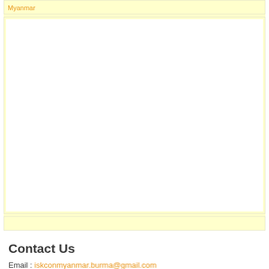Myanmar
[Figure (map): Embedded map area, blank white interior within a light yellow bordered box]
Contact Us
Email : iskconmyanmar.burma@gmail.com
Phone: +959252299465